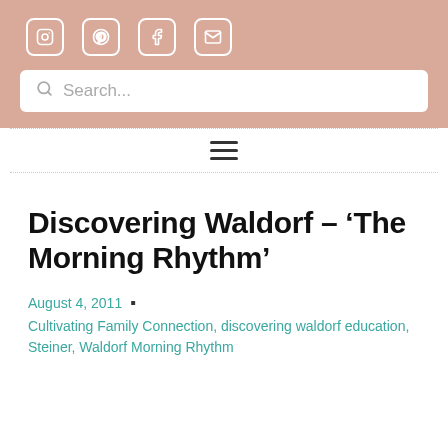Social icons: Instagram, Pinterest, Facebook, Email; Search bar
[Figure (other): Hamburger menu icon (three horizontal lines) between two dotted divider lines]
Discovering Waldorf – ‘The Morning Rhythm’
August 4, 2011
Cultivating Family Connection, discovering waldorf education, Steiner, Waldorf Morning Rhythm